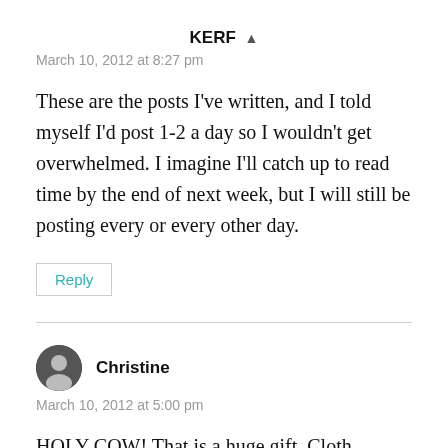KERF ▲
March 10, 2012 at 8:27 pm
These are the posts I've written, and I told myself I'd post 1-2 a day so I wouldn't get overwhelmed. I imagine I'll catch up to read time by the end of next week, but I will still be posting every or every other day.
Reply
Christine
March 10, 2012 at 5:00 pm
HOLY COW! That is a huge gift. Cloth diapers